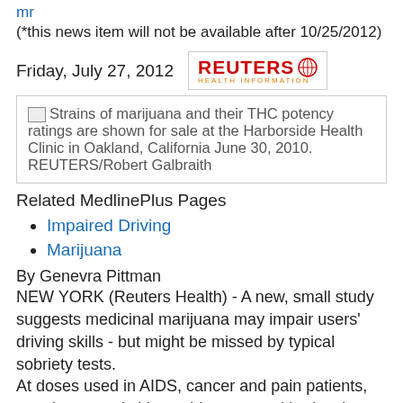mr
(*this news item will not be available after 10/25/2012)
Friday, July 27, 2012
[Figure (logo): Reuters Health Information logo]
[Figure (photo): Strains of marijuana and their THC potency ratings are shown for sale at the Harborside Health Clinic in Oakland, California June 30, 2010. REUTERS/Robert Galbraith]
Related MedlinePlus Pages
Impaired Driving
Marijuana
By Genevra Pittman
NEW YORK (Reuters Health) - A new, small study suggests medicinal marijuana may impair users' driving skills - but might be missed by typical sobriety tests.
At doses used in AIDS, cancer and pain patients, people weaved side to side more and had a slower reaction time in the hours after using the drug, researchers from the Netherlands found.
For people who hadn't built up a tolerance to marijuana, those effects were similar to driving with a blood alcohol